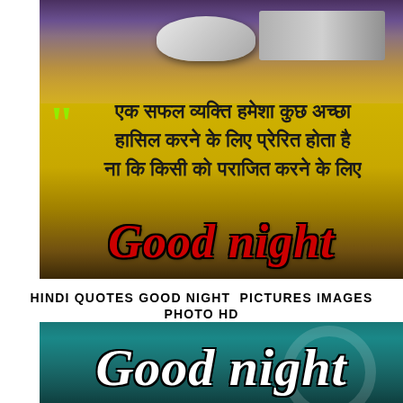[Figure (photo): Good night motivational image with Hindi quote text on golden/yellow background with desk and laptop in background. Text reads: एक सफल व्यक्ति हमेशा कुछ अच्छा हासिल करने के लिए प्रेरित होता है ना कि किसी को पराजित करने के लिए Good night]
HINDI QUOTES GOOD NIGHT PICTURES IMAGES PHOTO HD DOWNLOAD
[Figure (photo): Good night text on teal/dark green background with white serif font]